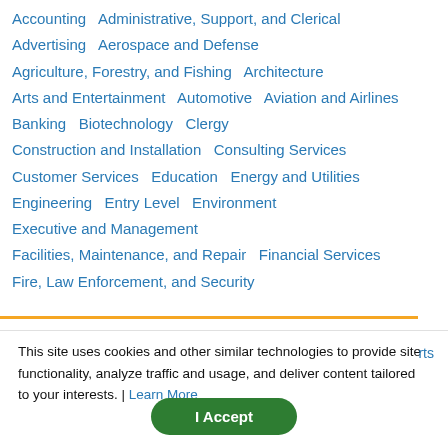Accounting   Administrative, Support, and Clerical
Advertising   Aerospace and Defense
Agriculture, Forestry, and Fishing   Architecture
Arts and Entertainment   Automotive   Aviation and Airlines
Banking   Biotechnology   Clergy
Construction and Installation   Consulting Services
Customer Services   Education   Energy and Utilities
Engineering   Entry Level   Environment
Executive and Management
Facilities, Maintenance, and Repair   Financial Services
Fire, Law Enforcement, and Security
This site uses cookies and other similar technologies to provide site functionality, analyze traffic and usage, and deliver content tailored to your interests. | Learn More
I Accept